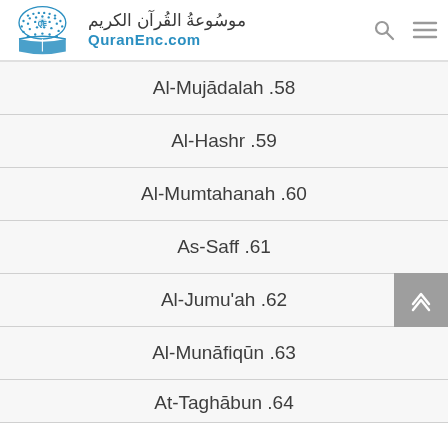QuranEnc.com
Al-Mujādalah .58
Al-Hashr .59
Al-Mumtahanah .60
As-Saff .61
Al-Jumu'ah .62
Al-Munāfiqūn .63
At-Taghābun .64